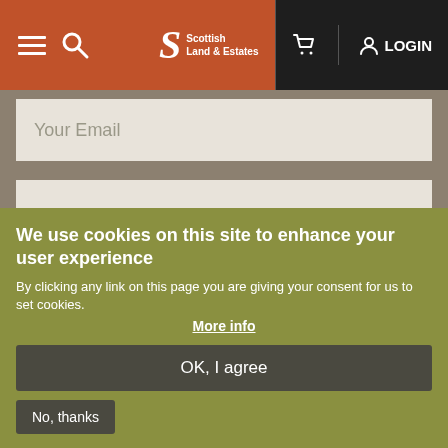Scottish Land & Estates — Navigation bar with hamburger menu, search, cart, and LOGIN
Your Email
Your Telephone (Optional)
Your Enquiry
We use cookies on this site to enhance your user experience
By clicking any link on this page you are giving your consent for us to set cookies.
More info
OK, I agree
No, thanks